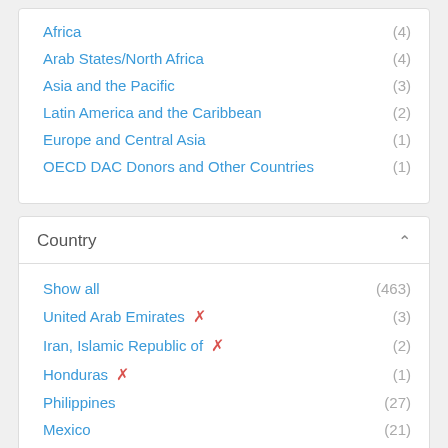Africa (4)
Arab States/North Africa (4)
Asia and the Pacific (3)
Latin America and the Caribbean (2)
Europe and Central Asia (1)
OECD DAC Donors and Other Countries (1)
Country
Show all (463)
United Arab Emirates ✗ (3)
Iran, Islamic Republic of ✗ (2)
Honduras ✗ (1)
Philippines (27)
Mexico (21)
Moldova, Republic of (18)
India (13)
Kenya (13)